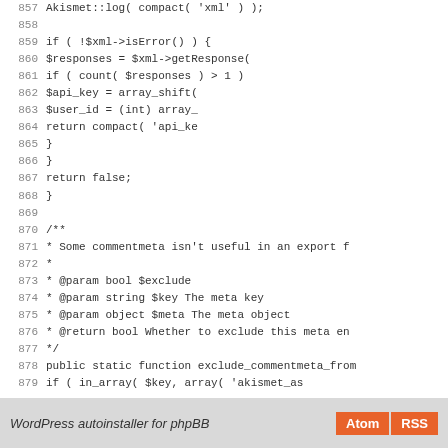[Figure (screenshot): PHP source code snippet showing lines 857-885 of a WordPress/Akismet plugin file, with line numbers on the left and code content on the right.]
WordPress autoinstaller for phpBB   Atom  RSS